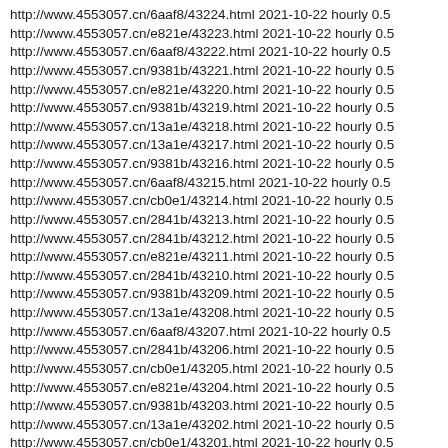http://www.4553057.cn/6aaf8/43224.html 2021-10-22 hourly 0.5
http://www.4553057.cn/e821e/43223.html 2021-10-22 hourly 0.5
http://www.4553057.cn/6aaf8/43222.html 2021-10-22 hourly 0.5
http://www.4553057.cn/9381b/43221.html 2021-10-22 hourly 0.5
http://www.4553057.cn/e821e/43220.html 2021-10-22 hourly 0.5
http://www.4553057.cn/9381b/43219.html 2021-10-22 hourly 0.5
http://www.4553057.cn/13a1e/43218.html 2021-10-22 hourly 0.5
http://www.4553057.cn/13a1e/43217.html 2021-10-22 hourly 0.5
http://www.4553057.cn/9381b/43216.html 2021-10-22 hourly 0.5
http://www.4553057.cn/6aaf8/43215.html 2021-10-22 hourly 0.5
http://www.4553057.cn/cb0e1/43214.html 2021-10-22 hourly 0.5
http://www.4553057.cn/2841b/43213.html 2021-10-22 hourly 0.5
http://www.4553057.cn/2841b/43212.html 2021-10-22 hourly 0.5
http://www.4553057.cn/e821e/43211.html 2021-10-22 hourly 0.5
http://www.4553057.cn/2841b/43210.html 2021-10-22 hourly 0.5
http://www.4553057.cn/9381b/43209.html 2021-10-22 hourly 0.5
http://www.4553057.cn/13a1e/43208.html 2021-10-22 hourly 0.5
http://www.4553057.cn/6aaf8/43207.html 2021-10-22 hourly 0.5
http://www.4553057.cn/2841b/43206.html 2021-10-22 hourly 0.5
http://www.4553057.cn/cb0e1/43205.html 2021-10-22 hourly 0.5
http://www.4553057.cn/e821e/43204.html 2021-10-22 hourly 0.5
http://www.4553057.cn/9381b/43203.html 2021-10-22 hourly 0.5
http://www.4553057.cn/13a1e/43202.html 2021-10-22 hourly 0.5
http://www.4553057.cn/cb0e1/43201.html 2021-10-22 hourly 0.5
http://www.4553057.cn/9381b/43200.html 2021-10-22 hourly 0.5